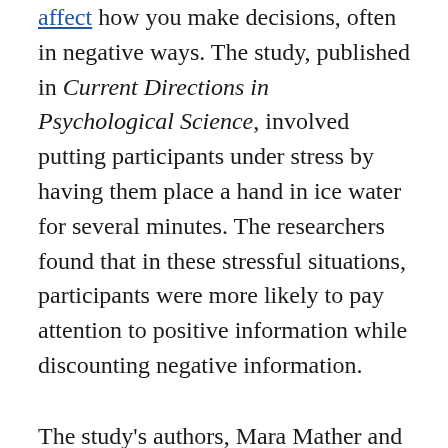affect how you make decisions, often in negative ways. The study, published in Current Directions in Psychological Science, involved putting participants under stress by having them place a hand in ice water for several minutes. The researchers found that in these stressful situations, participants were more likely to pay attention to positive information while discounting negative information.
The study's authors, Mara Mather and Nichole R. Lighthall, suggest that when you are making an important decision under stress, like trying to decide if you should accept a new job position, you are more likely